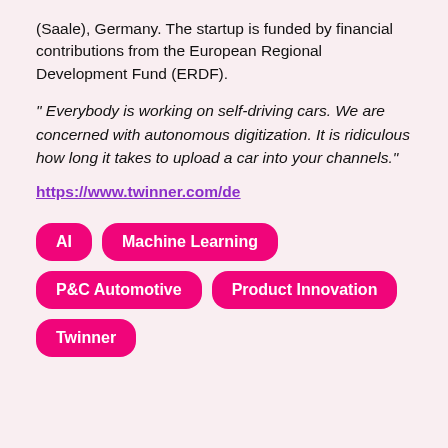(Saale), Germany. The startup is funded by financial contributions from the European Regional Development Fund (ERDF).
" Everybody is working on self-driving cars. We are concerned with autonomous digitization. It is ridiculous how long it takes to upload a car into your channels."
https://www.twinner.com/de
AI
Machine Learning
P&C Automotive
Product Innovation
Twinner